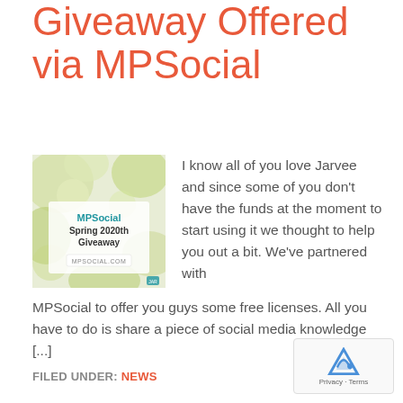Giveaway Offered via MPSocial
[Figure (screenshot): MPSocial Spring 2020th Giveaway promotional image with green and white background. Text reads 'MPSocial Spring 2020th Giveaway' and 'MPSOCIAL.COM']
I know all of you love Jarvee and since some of you don't have the funds at the moment to start using it we thought to help you out a bit. We've partnered with MPSocial to offer you guys some free licenses. All you have to do is share a piece of social media knowledge [...]
FILED UNDER: NEWS